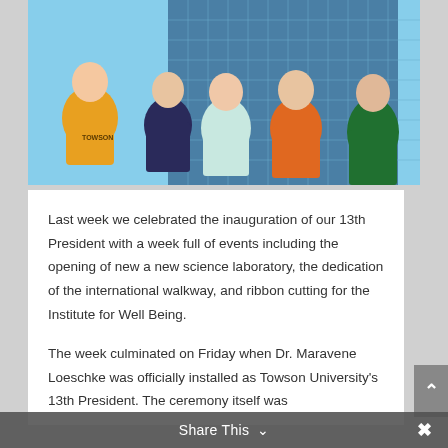[Figure (photo): Five people (one man in a yellow Towson shirt, and four women) smiling in front of a tall glass office building under a blue sky.]
Last week we celebrated the inauguration of our 13th President with a week full of events including the opening of new a new science laboratory, the dedication of the international walkway, and ribbon cutting for the Institute for Well Being.
The week culminated on Friday when Dr. Maravene Loeschke was officially installed as Towson University's 13th President. The ceremony itself was
Share This ∨  ×